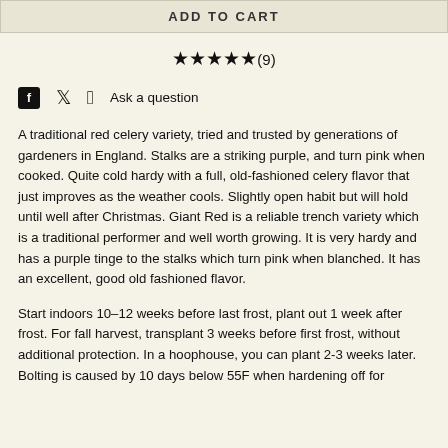ADD TO CART
★★★★★(9)
Ask a question
A traditional red celery variety, tried and trusted by generations of gardeners in England. Stalks are a striking purple, and turn pink when cooked. Quite cold hardy with a full, old-fashioned celery flavor that just improves as the weather cools. Slightly open habit but will hold until well after Christmas. Giant Red is a reliable trench variety which is a traditional performer and well worth growing. It is very hardy and has a purple tinge to the stalks which turn pink when blanched. It has an excellent, good old fashioned flavor.
Start indoors 10–12 weeks before last frost, plant out 1 week after frost. For fall harvest, transplant 3 weeks before first frost, without additional protection. In a hoophouse, you can plant 2-3 weeks later. Bolting is caused by 10 days below 55F when hardening off for...